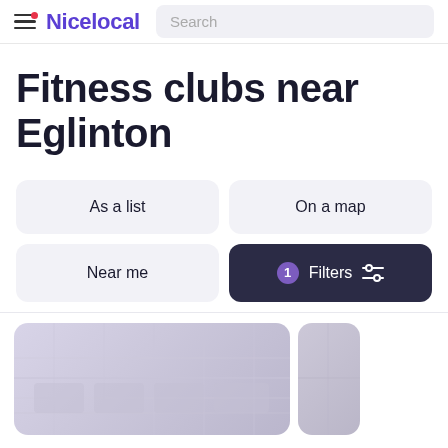Nicelocal — Search
Fitness clubs near Eglinton
As a list
On a map
Near me
1 Filters
[Figure (photo): Fitness club interior photo showing gym equipment, faded/light toned image cards]